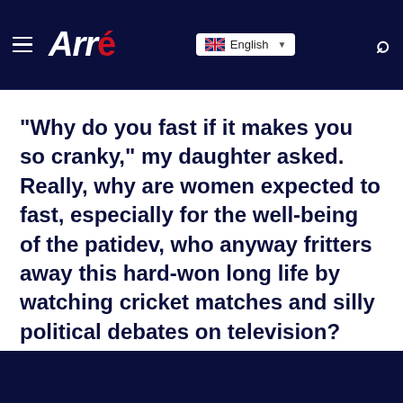Arré — English (navigation bar)
“Why do you fast if it makes you so cranky,” my daughter asked. Really, why are women expected to fast, especially for the well-being of the patidev, who anyway fritters away this hard-won long life by watching cricket matches and silly political debates on television?